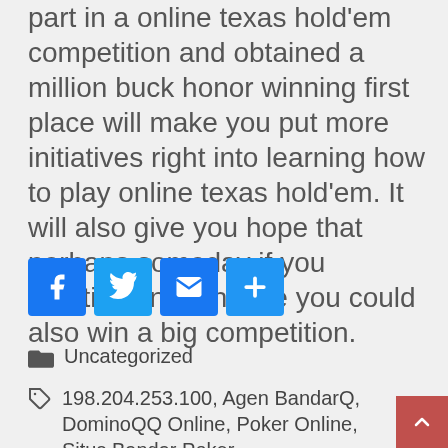part in a online texas hold'em competition and obtained a million buck honor winning first place will make you put more initiatives right into learning how to play online texas hold'em. It will also give you hope that perhaps someday if you practice enough time you could also win a big competition.
[Figure (infographic): Four social share buttons: Facebook (blue with f), Twitter (blue with bird), Email (blue with envelope), and a plus/share button (blue with +)]
Uncategorized
198.204.253.100, Agen BandarQ, DominoQQ Online, Poker Online, Situs Bandar Poker